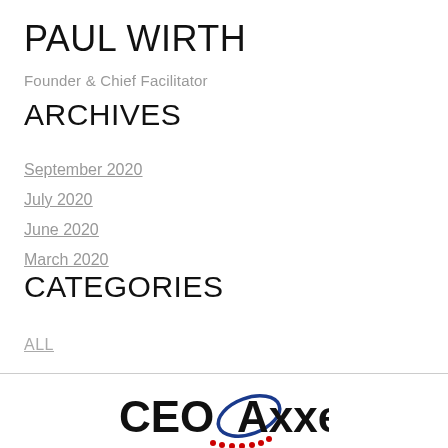PAUL WIRTH
Founder & Chief Facilitator
ARCHIVES
September 2020
July 2020
June 2020
March 2020
CATEGORIES
All
[Figure (logo): CEOAxxess logo with blue oval and red dots]